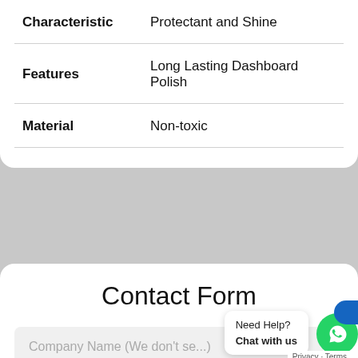| Characteristic | Protectant and Shine |
| --- | --- |
| Features | Long Lasting Dashboard Polish |
| Material | Non-toxic |
Contact Form
Company Name (We don't se...)
[Figure (screenshot): WhatsApp chat widget with green circle icon and 'Need Help? Chat with us' bubble, and Privacy - Terms footer text]